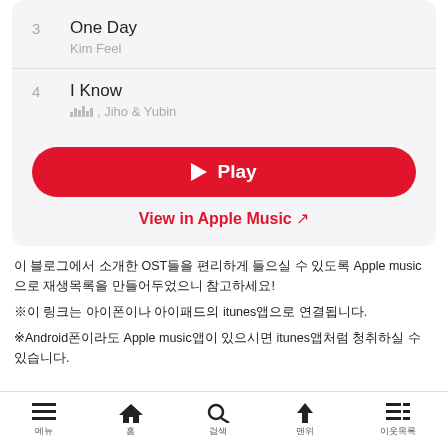3 One Day - Kim Feel
4 I Know - ≡≡, Jiho & Yubin
▶ Play
View in Apple Music ↗
이 블로그에서 소개한 OST들을 편리하게 들으실 수 있도록 Apple music으로 재생목록을 만들어두었으니 참고하세요!
※이 링크는 아이폰이나 아이패드의 itunes앱으로 연결됩니다.
※Android폰이라도 Apple music앱이 있으시면 itunes앱처럼 청취하실 수 있습니다.
메뉴 | 홈 | 검색 | 맨위 | 이웃목록